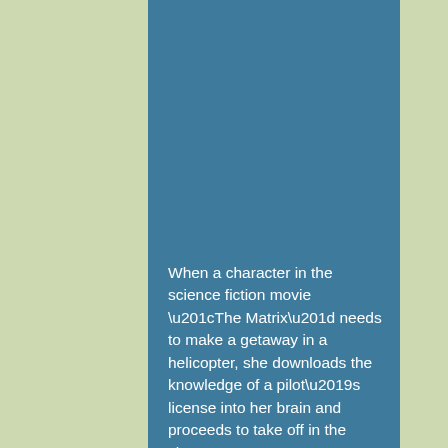When a character in the science fiction movie “The Matrix” needs to make a getaway in a helicopter, she downloads the knowledge of a pilot’s license into her brain and proceeds to take off in the chopper.

As preposterous as this sounds in real life, I wonder if sometimes we are praying for the very same